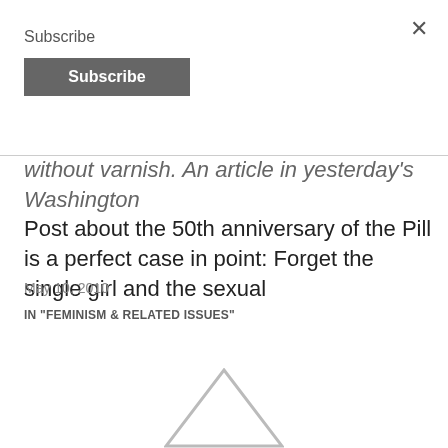Subscribe
Subscribe
×
without varnish. An article in yesterday's Washington Post about the 50th anniversary of the Pill is a perfect case in point: Forget the single girl and the sexual
May 10, 2010
IN "FEMINISM & RELATED ISSUES"
[Figure (illustration): Partial triangle/arrow shape visible at bottom center of page]